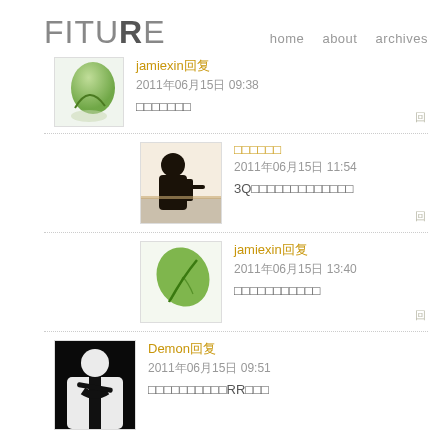FITURE   home about archives
jamiexin回复
2011年06月15日 09:38
□□□□□□□
□□□□□□
2011年06月15日 11:54
3Q□□□□□□□□□□□□□
jamiexin回复
2011年06月15日 13:40
□□□□□□□□□□□
Demon回复
2011年06月15日 09:51
□□□□□□□□□□RR□□□